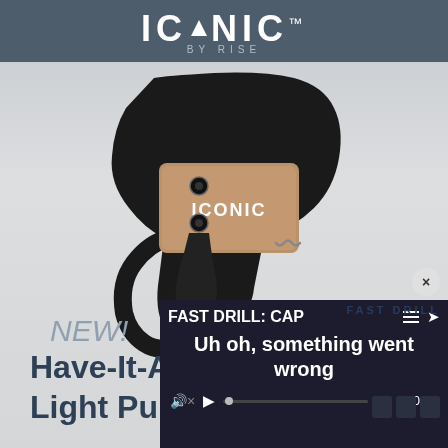[Figure (photo): Product packaging image for ICONIC by RISE firearm trigger. Top has dark blue-gray header band with ICONIC logo text in white and 'BY RISE' subtitle. Center shows a tan/FDE colored AR-15 trigger group with black housing, labeled ICONIC on the body. Background is light gray with circular watermark design.]
NEW!
Have-It-All
Light Pull &
[Figure (screenshot): Video player overlay showing error state. Header reads 'FAST DRILL' in blue text. Title area shows 'FAST DRILL: CAP' with hamburger menu and share icons. Error message reads 'Uh oh, something went wrong'. Controls show muted speaker icon, play button, progress bar with dot, red X mark, timestamp '0:00', and fullscreen icon.]